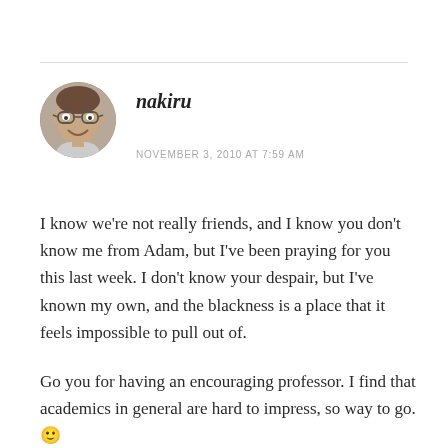[Figure (photo): Circular avatar photo of a smiling man with glasses]
nakiru
NOVEMBER 3, 2010 AT 7:59 AM
I know we're not really friends, and I know you don't know me from Adam, but I've been praying for you this last week. I don't know your despair, but I've known my own, and the blackness is a place that it feels impossible to pull out of.
Go you for having an encouraging professor. I find that academics in general are hard to impress, so way to go. 🙂